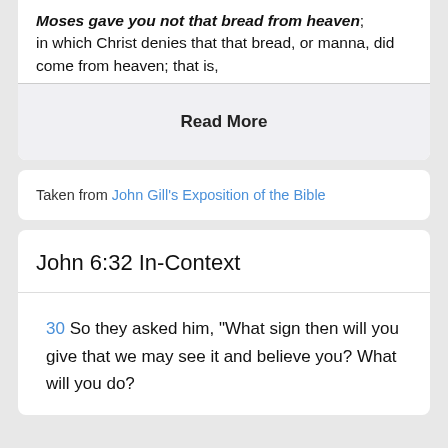Moses gave you not that bread from heaven; in which Christ denies that that bread, or manna, did come from heaven; that is,
Read More
Taken from John Gill's Exposition of the Bible
John 6:32 In-Context
30 So they asked him, “What sign then will you give that we may see it and believe you? What will you do?